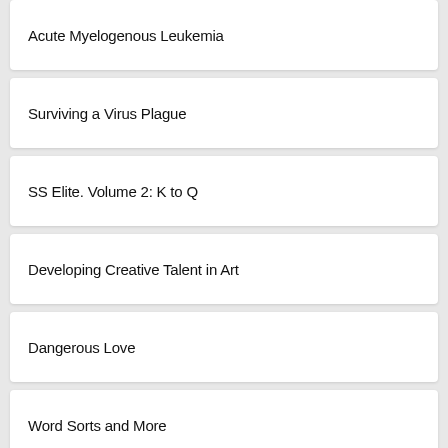Acute Myelogenous Leukemia
Surviving a Virus Plague
SS Elite. Volume 2: K to Q
Developing Creative Talent in Art
Dangerous Love
Word Sorts and More
The Revolution Will Not Be Televised